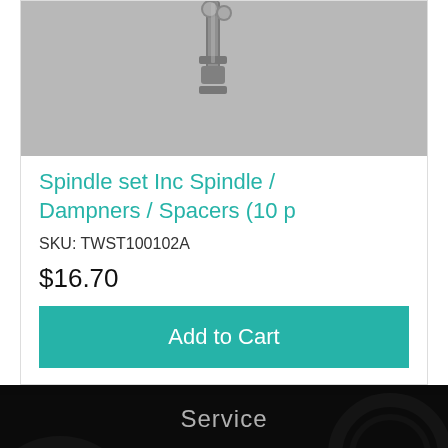[Figure (photo): Close-up photo of metal spindle hardware parts on a gray background]
Spindle set Inc Spindle / Dampners / Spacers (10 p
SKU: TWST100102A
$16.70
Add to Cart
Service
My Account
Track Order
Resolution Centre